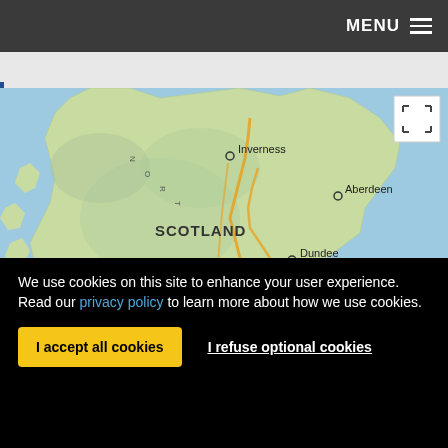MENU ☰
[Figure (map): Map of Scotland showing cities: Inverness, Aberdeen, Dundee, Edinburgh, with topographic land cover, roads, and surrounding sea]
We use cookies on this site to enhance your user experience. Read our privacy policy to learn more about how we use cookies.
I accept all cookies | I refuse optional cookies